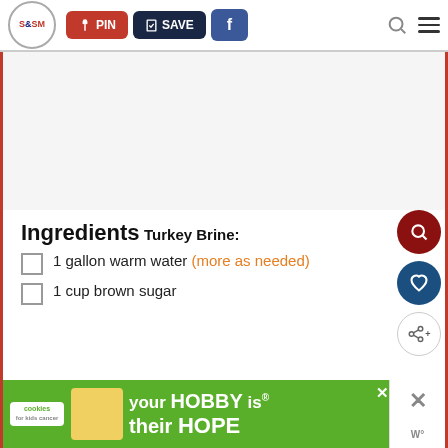S&SM logo, PIN, SAVE, Facebook, Search, Menu navigation bar
[Figure (other): White/blank image placeholder area with red side borders]
Ingredients
Turkey Brine:
1 gallon warm water (more as needed)
1 cup brown sugar
[Figure (photo): Advertisement banner: cookies for kids cancer - your HOBBY is their HOPE, with heart cookie photo]